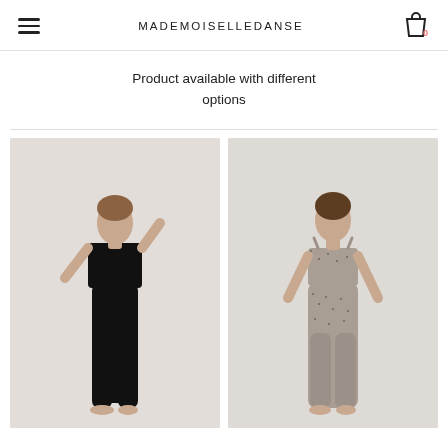MADEMOISELLEDANSE
Product available with different options
[Figure (photo): Two female models wearing activewear/dancewear. Left model wears a black crop top and black high-waist leggings. Right model wears a beige/grey patterned sports bra and matching high-waist leggings.]